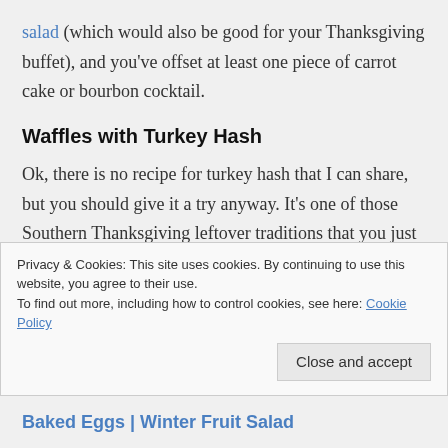salad (which would also be good for your Thanksgiving buffet), and you've offset at least one piece of carrot cake or bourbon cocktail.
Waffles with Turkey Hash
Ok, there is no recipe for turkey hash that I can share, but you should give it a try anyway. It's one of those Southern Thanksgiving leftover traditions that you just have to figure out as you go, as this article in Gourmet explains so well (and it has tips
Privacy & Cookies: This site uses cookies. By continuing to use this website, you agree to their use.
To find out more, including how to control cookies, see here: Cookie Policy
Close and accept
Baked Eggs | Winter Fruit Salad